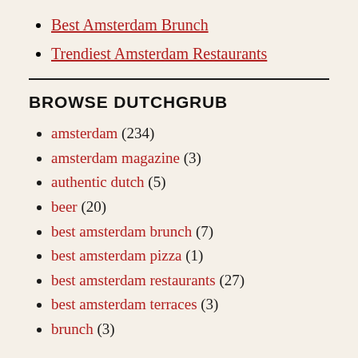Best Amsterdam Brunch
Trendiest Amsterdam Restaurants
BROWSE DUTCHGRUB
amsterdam (234)
amsterdam magazine (3)
authentic dutch (5)
beer (20)
best amsterdam brunch (7)
best amsterdam pizza (1)
best amsterdam restaurants (27)
best amsterdam terraces (3)
brunch (3)